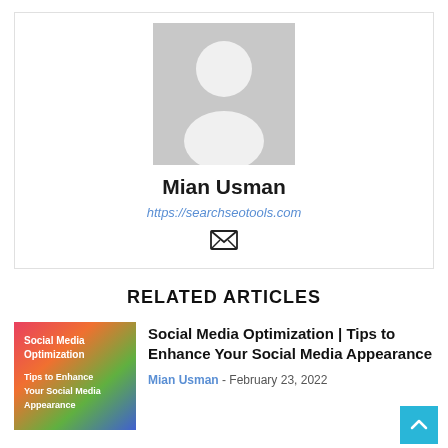[Figure (photo): Gray placeholder avatar image showing a silhouette of a person on a gray background]
Mian Usman
https://searchseotools.com
[Figure (illustration): Email/envelope icon]
RELATED ARTICLES
[Figure (photo): Colorful thumbnail image with text: Social Media Optimization Tips to Enhance Your Social Media Appearance]
Social Media Optimization | Tips to Enhance Your Social Media Appearance
Mian Usman - February 23, 2022